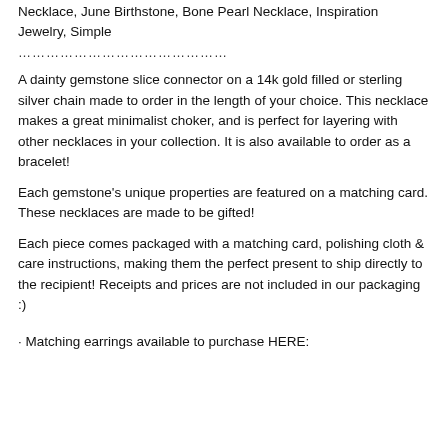Necklace, June Birthstone, Bone Pearl Necklace, Inspiration Jewelry, Simple
………………………………………
A dainty gemstone slice connector on a 14k gold filled or sterling silver chain made to order in the length of your choice. This necklace makes a great minimalist choker, and is perfect for layering with other necklaces in your collection. It is also available to order as a bracelet!
Each gemstone's unique properties are featured on a matching card. These necklaces are made to be gifted!
Each piece comes packaged with a matching card, polishing cloth & care instructions, making them the perfect present to ship directly to the recipient! Receipts and prices are not included in our packaging :)
· Matching earrings available to purchase HERE: